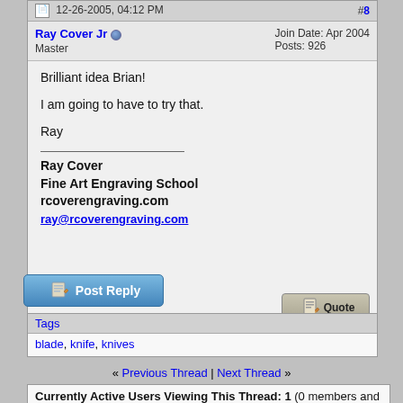12-26-2005, 04:12 PM   #8
Ray Cover Jr  Master   Join Date: Apr 2004  Posts: 926
Brilliant idea Brian!

I am going to have to try that.

Ray
Ray Cover
Fine Art Engraving School
rcoverengraving.com
ray@rcoverengraving.com
Post Reply
Tags
blade, knife, knives
« Previous Thread | Next Thread »
Currently Active Users Viewing This Thread: 1 (0 members and 1